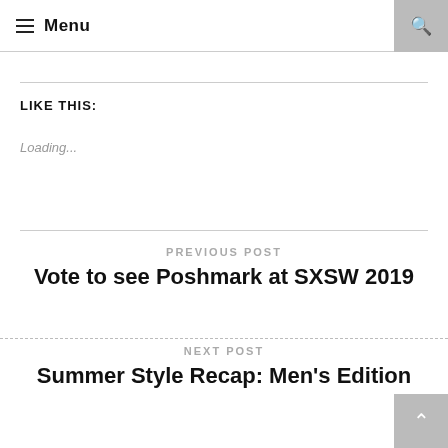Menu
LIKE THIS:
Loading...
PREVIOUS POST
Vote to see Poshmark at SXSW 2019
NEXT POST
Summer Style Recap: Men's Edition